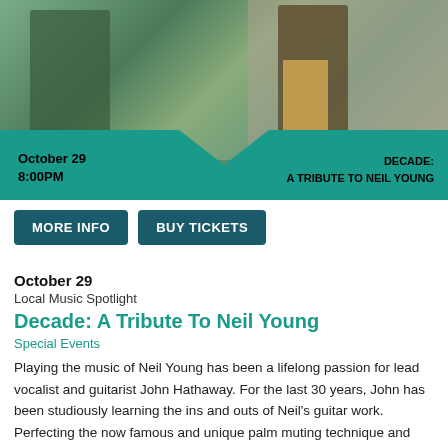[Figure (photo): Event promotional banner showing two men, one holding an acoustic guitar, standing outdoors near a stone wall with teal chevron overlay. Text reads: October 29 8:00PM on left, DECADE: A TRIBUTE TO NEIL YOUNG on right.]
MORE INFO
BUY TICKETS
October 29
Local Music Spotlight
Decade: A Tribute To Neil Young
Special Events
Playing the music of Neil Young has been a lifelong passion for lead vocalist and guitarist John Hathaway. For the last 30 years, John has been studiously learning the ins and outs of Neil's guitar work. Perfecting the now famous and unique palm muting technique and one of a king lead work that are